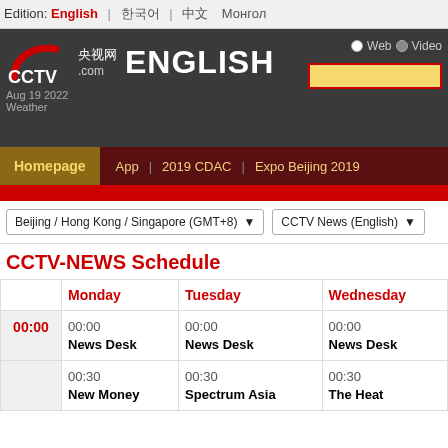Edition: English | 한국어 | 中文 | Монгол
[Figure (screenshot): CCTV.com 央视网 ENGLISH header banner with logo, date Aug 19 2022, Weather, Web/Video radio buttons and search box]
Homepage  App  |  2019 CDAC  |  Expo Beijing 2019
Beijing / Hong Kong / Singapore (GMT+8)  ▾    CCTV News (English) ▾
CCTV-NEWS Schedule
|  | Monday | Tuesday | Wednesday |
| --- | --- | --- | --- |
| 00:00 | 00:00
News Desk | 00:00
News Desk | 00:00
News Desk |
| 00:00 | 00:30
New Money | 00:30
Spectrum Asia | 00:30
The Heat |